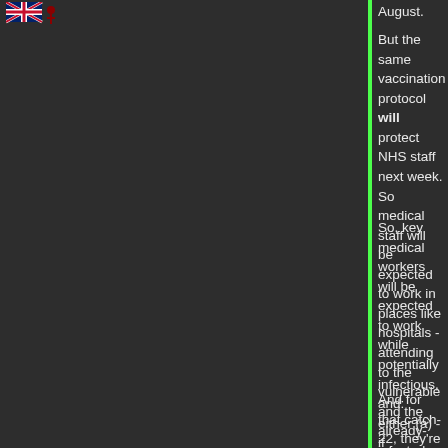August.
But the same vaccination protocol will protect NHS staff next week. So medical staff will be expected to work in places like hospitals - attending to the vulnerable and the already-infected - while everyone else is forced to isolate and await the outcome of a potential infection.
So, key medical workers will be expected to work while potentially infectious, and:
either (a) - if infectious, infect their patients
or (b) - if not infectious, catch the virus from their patients.
And for that catch-22, they're being offered danger money of a 1% pay rise year on year.